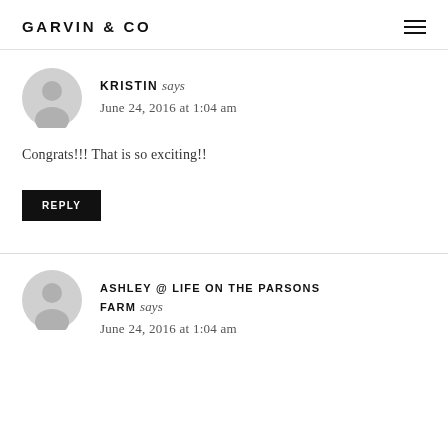GARVIN & CO
KRISTIN says
June 24, 2016 at 1:04 am
Congrats!!! That is so exciting!!
REPLY
ASHLEY @ LIFE ON THE PARSONS FARM says
June 24, 2016 at 1:04 am